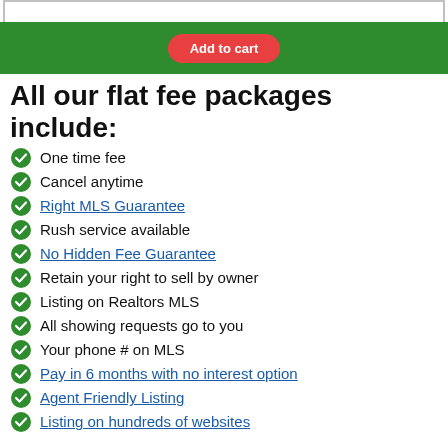[Figure (other): Green bar with red 'Add to cart' button]
All our flat fee packages include:
One time fee
Cancel anytime
Right MLS Guarantee
Rush service available
No Hidden Fee Guarantee
Retain your right to sell by owner
Listing on Realtors MLS
All showing requests go to you
Your phone # on MLS
Pay in 6 months with no interest option
Agent Friendly Listing
Listing on hundreds of websites